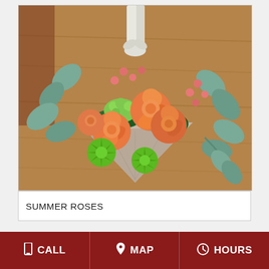[Figure (photo): A floral arrangement of orange/coral roses, green spider mums, pink hypericum berries, and eucalyptus leaves in a cone-shaped paper wrapper, placed on a wooden table surface.]
SUMMER ROSES
CALL   MAP   HOURS